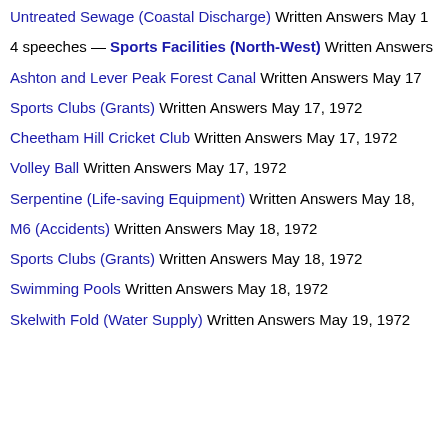Untreated Sewage (Coastal Discharge) Written Answers May 1
4 speeches — Sports Facilities (North-West) Written Answers
Ashton and Lever Peak Forest Canal Written Answers May 17
Sports Clubs (Grants) Written Answers May 17, 1972
Cheetham Hill Cricket Club Written Answers May 17, 1972
Volley Ball Written Answers May 17, 1972
Serpentine (Life-saving Equipment) Written Answers May 18,
M6 (Accidents) Written Answers May 18, 1972
Sports Clubs (Grants) Written Answers May 18, 1972
Swimming Pools Written Answers May 18, 1972
Skelwith Fold (Water Supply) Written Answers May 19, 1972